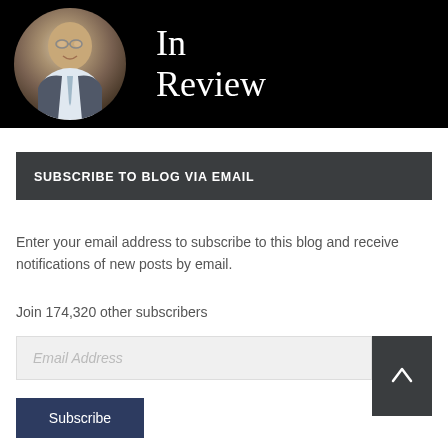[Figure (photo): A smiling older man in a suit and tie on a black background, with text 'In Review' in serif/typewriter font on the right side of the banner.]
SUBSCRIBE TO BLOG VIA EMAIL
Enter your email address to subscribe to this blog and receive notifications of new posts by email.
Join 174,320 other subscribers
Email Address
Subscribe